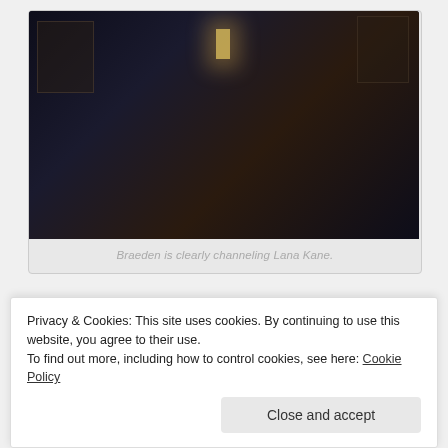[Figure (screenshot): Dark scene screenshot from a TV show or film: a shirtless man pointing a gun on the left, a woman in dark clothing in the center, and a shadowy figure on the right, set in a dimly lit indoor location with windows visible in the background]
Braeden is clearly channeling Lana Kane.
[Figure (photo): Partial view of Merck branded pharmaceutical packaging or promotional materials with colorful labels]
Privacy & Cookies: This site uses cookies. By continuing to use this website, you agree to their use.
To find out more, including how to control cookies, see here: Cookie Policy
Close and accept